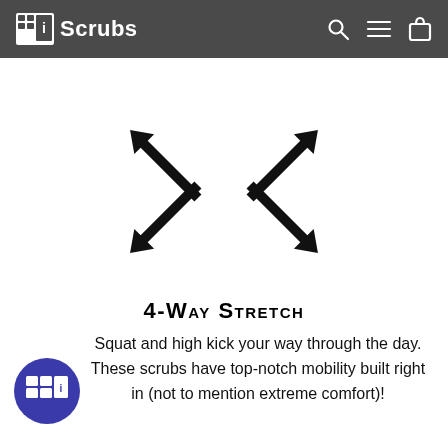TiScrubs
[Figure (illustration): Four-way stretch arrows icon: four large black arrows pointing to each diagonal corner (upper-left, upper-right, lower-left, lower-right), forming an X shape to indicate 4-way stretch fabric]
4-Way Stretch
Squat and high kick your way through the day. These scrubs have top-notch mobility built right in (not to mention extreme comfort)!